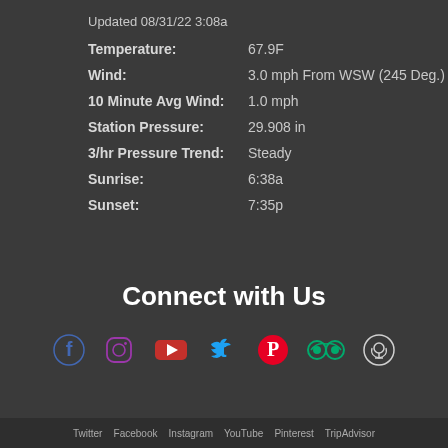Updated 08/31/22 3:08a
| Temperature: | 67.9F |
| Wind: | 3.0 mph From WSW (245 Deg.) |
| 10 Minute Avg Wind: | 1.0 mph |
| Station Pressure: | 29.908 in |
| 3/hr Pressure Trend: | Steady |
| Sunrise: | 6:38a |
| Sunset: | 7:35p |
Connect with Us
[Figure (infographic): Row of social media icons: Facebook (blue), Instagram (purple/pink), YouTube (red), Twitter (blue), Pinterest (red), TripAdvisor (teal), Podcast (white)]
Twitter   Facebook   Instagram   YouTube   Pinterest   TripAdvisor